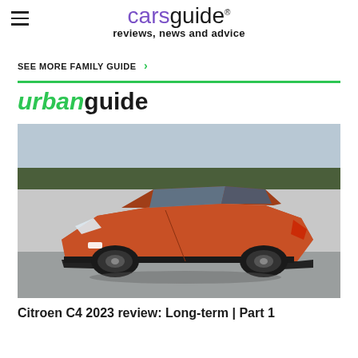carsguide® reviews, news and advice
SEE MORE FAMILY GUIDE >
urbanguide
[Figure (photo): Citroen C4 2023 copper/orange SUV photographed outdoors against a grey wall with trees and sky in the background]
Citroen C4 2023 review: Long-term | Part 1